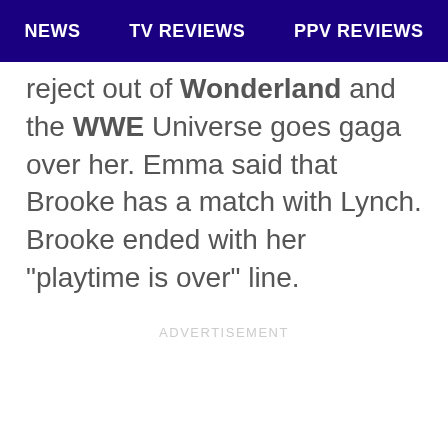NEWS   TV REVIEWS   PPV REVIEWS
reject out of Wonderland and the WWE Universe goes gaga over her. Emma said that Brooke has a match with Lynch. Brooke ended with her “playtime is over” line.
ADVERTISEMENT